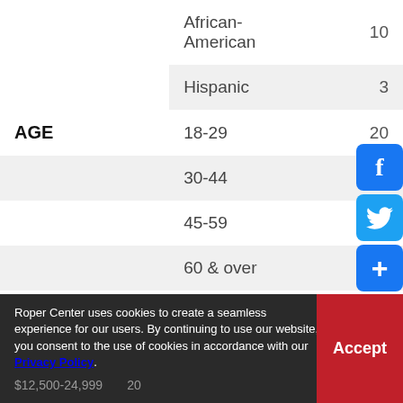| Category | Subcategory | Value |
| --- | --- | --- |
|  | African-American | 10 |
|  | Hispanic | 3 |
| AGE | 18-29 | 20 |
|  | 30-44 | 35 |
|  | 45-59 | 22 |
|  | 60 & over | 22 |
|  | $12,500-24,999 | 20 |
Roper Center uses cookies to create a seamless experience for our users. By continuing to use our website, you consent to the use of cookies in accordance with our Privacy Policy.